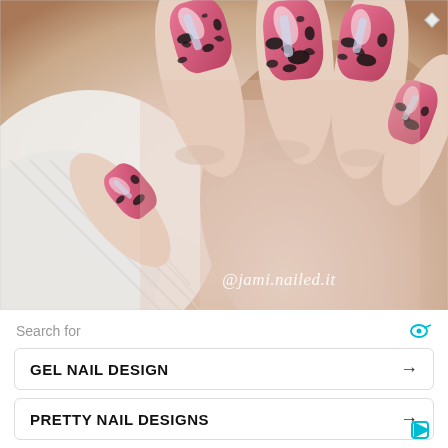[Figure (photo): Close-up photo of a hand showing gel nails painted in pink with black splatter/speckle pattern and silver chrome accents. Watermark text '@jami.nailed.it' in white italic script on the lower right of the photo.]
Search for
GEL NAIL DESIGN →
PRETTY NAIL DESIGNS →